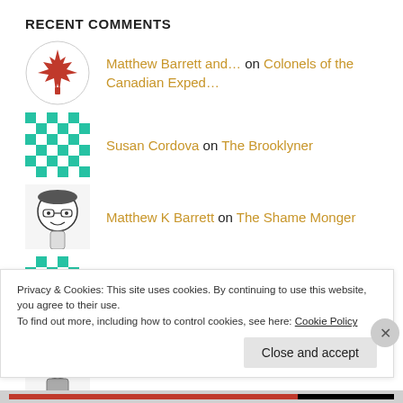RECENT COMMENTS
Matthew Barrett and… on Colonels of the Canadian Exped…
Susan Cordova on The Brooklyner
Matthew K Barrett on The Shame Monger
Bill Reynolds on The Shame Monger
The Nervous Officer… on The Bulldog
Privacy & Cookies: This site uses cookies. By continuing to use this website, you agree to their use.
To find out more, including how to control cookies, see here: Cookie Policy
Close and accept